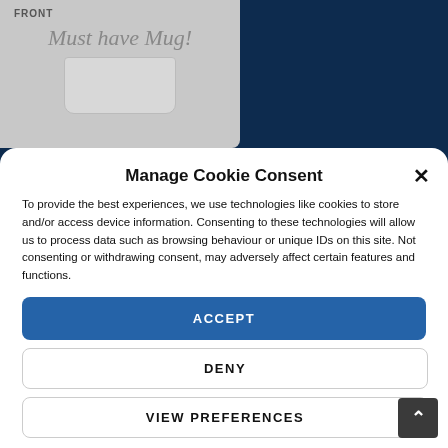[Figure (photo): Partial view of a mug with 'FRONT' label and 'Must have Mug!' script text on a light gray background, set against a dark navy blue website background]
Manage Cookie Consent
To provide the best experiences, we use technologies like cookies to store and/or access device information. Consenting to these technologies will allow us to process data such as browsing behaviour or unique IDs on this site. Not consenting or withdrawing consent, may adversely affect certain features and functions.
ACCEPT
DENY
VIEW PREFERENCES
Cookie Policy   Privacy Statement